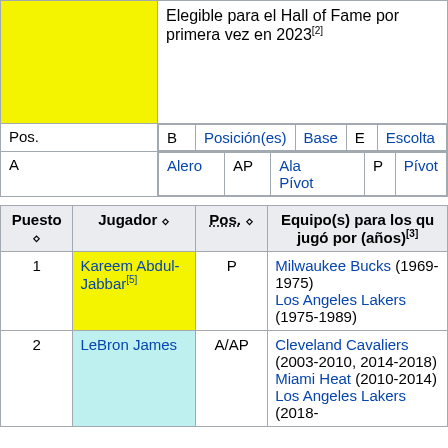|  | Posición(es) | B | Base | E | Escolta | A | Alero | AP | Ala Pívot | P | Pívot |
| --- | --- | --- | --- | --- | --- | --- | --- | --- | --- | --- | --- |
| (yellow) | Elegible para el Hall of Fame por primera vez en 2023[2] |
| Pos. | Posición(es) | B | Base | E | Escolta |
| A | Alero | AP | Ala Pívot | P | Pívot |
| Puesto | Jugador | Pos. | Equipo(s) para los que jugó por (años)[3] |
| --- | --- | --- | --- |
| 1 | Kareem Abdul-Jabbar[5] | P | Milwaukee Bucks (1969-1975)
Los Angeles Lakers (1975-1989) |
| 2 | LeBron James | A/AP | Cleveland Cavaliers (2003-2010, 2014-2018)
Miami Heat (2010-2014)
Los Angeles Lakers (2018- |